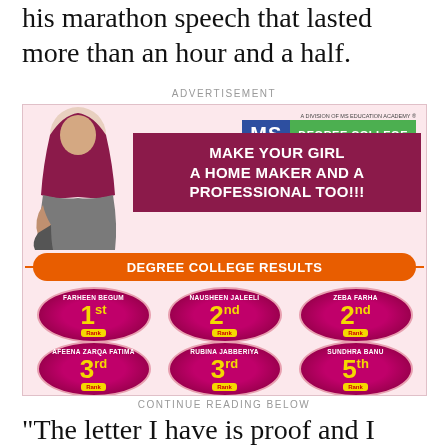his marathon speech that lasted more than an hour and a half.
ADVERTISEMENT
[Figure (illustration): Advertisement for MS Degree College showing a girl in hijab illustration, logo with 'MS DEGREE COLLEGE' in blue and green, tagline 'Transforming Talent, Exploring Opportunities', headline 'MAKE YOUR GIRL A HOME MAKER AND A PROFESSIONAL TOO!!!', results section showing Degree College results with student names and ranks: Farheen Begum 1st Rank, Nausheen Jaleeli 2nd Rank, Zeba Farha 2nd Rank, Afeena Zarqa Fatima 3rd Rank, Rubina Jabberiya 3rd Rank, Sundhra Banu 5th Rank]
CONTINUE READING BELOW
“The letter I have is proof and I want to dare anyone who is doubting this letter. I will invite